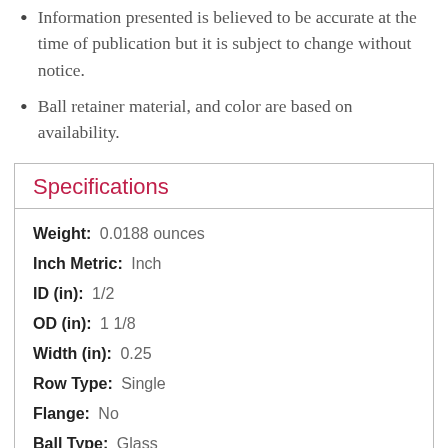Information presented is believed to be accurate at the time of publication but it is subject to change without notice.
Ball retainer material, and color are based on availability.
Specifications
| Weight: | 0.0188 ounces |
| Inch Metric: | Inch |
| ID (in): | 1/2 |
| OD (in): | 1 1/8 |
| Width (in): | 0.25 |
| Row Type: | Single |
| Flange: | No |
| Ball Type: | Glass |
| Max. RPM No Load: | 1370 |